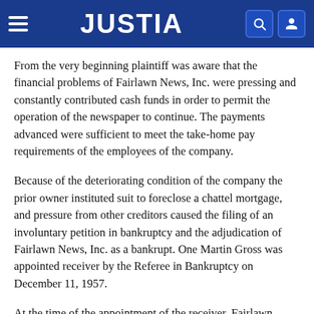JUSTIA
From the very beginning plaintiff was aware that the financial problems of Fairlawn News, Inc. were pressing and constantly contributed cash funds in order to permit the operation of the newspaper to continue. The payments advanced were sufficient to meet the take-home pay requirements of the employees of the company.
Because of the deteriorating condition of the company the prior owner instituted suit to foreclose a chattel mortgage, and pressure from other creditors caused the filing of an involuntary petition in bankruptcy and the adjudication of Fairlawn News, Inc. as a bankrupt. One Martin Gross was appointed receiver by the Referee in Bankruptcy on December 11, 1957.
At the time of the appointment of the receiver, Fairlawn News, Inc. had paid federal withholding taxes for the first